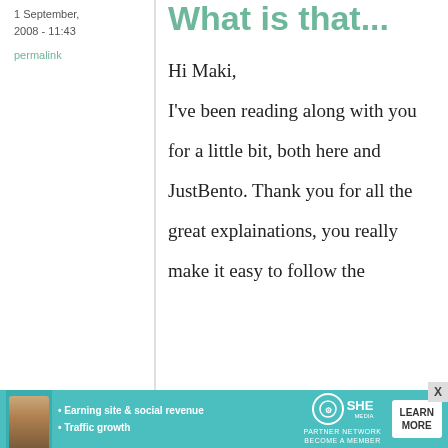1 September, 2008 - 11:43
permalink
What is that...
Hi Maki, I've been reading along with you for a little bit, both here and JustBento. Thank you for all the great explainations, you really make it easy to follow the
[Figure (other): Advertisement banner for SHE Partner Network with woman photo, bullet points about Earning site & social revenue and Traffic growth, SHE logo, and LEARN MORE button]